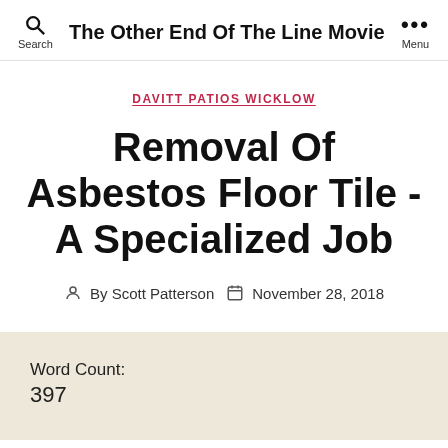Search  The Other End Of The Line Movie  Menu
DAVITT PATIOS WICKLOW
Removal Of Asbestos Floor Tile -A Specialized Job
By Scott Patterson  November 28, 2018
Word Count:
397